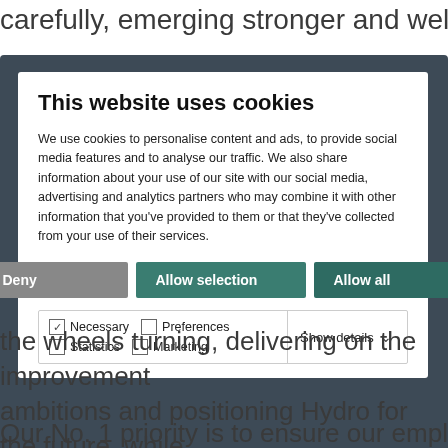carefully, emerging stronger and well
[Figure (screenshot): Cookie consent dialog overlay showing title 'This website uses cookies', explanatory text about cookie usage, three buttons (Deny, Allow selection, Allow all), and checkboxes for Necessary, Preferences, Statistics, Marketing with a Show details dropdown.]
the wheels turning, delivering on the improvement ambitions and positioning Hydro for the future, while always putting health and safety first.
Our No. 1 priority is to ensure our employees come